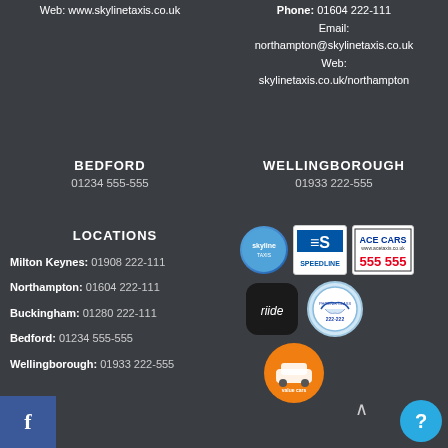Web: www.skylinetaxis.co.uk
Phone: 01604 222-111
Email: northampton@skylinetaxis.co.uk
Web: skylinetaxis.co.uk/northampton
BEDFORD
01234 555-555
WELLINGBOROUGH
01933 222-555
LOCATIONS
Milton Keynes: 01908 222-111
Northampton: 01604 222-111
Buckingham: 01280 222-111
Bedford: 01234 555-555
Wellingborough: 01933 222-555
[Figure (logo): Skyline taxis logo - blue circle with skyline text]
[Figure (logo): Speedline logo - white box with S and speedline text]
[Figure (logo): Ace Cars logo - white box with ACE CARS 555 555]
[Figure (logo): Riide app logo - dark rounded square with riide text]
[Figure (logo): Phoenix Class 222-222 circular logo]
[Figure (logo): Value Cars orange circular logo]